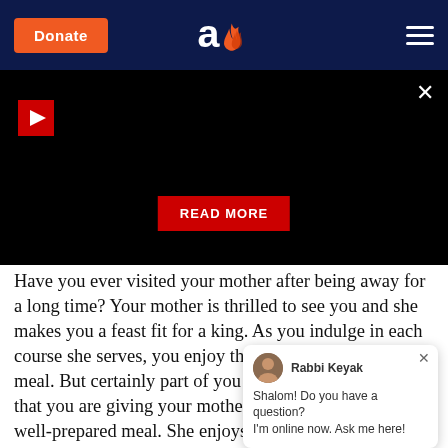Donate | Aish.com | Menu
[Figure (screenshot): Black video player area with play button, close button, and READ MORE button]
Have you ever visited your mother after being away for a long time? Your mother is thrilled to see you and she makes you a feast fit for a king. As you indulge in each course she serves, you enjoy the special home cooked meal. But certainly part of you takes pleasure in the fact that you are giving your mother pleasure by eating her well-prepared meal. She enjoys watching you enjoy her food. And you eat, intending not to just enjoy the food, but to please your mother as w...